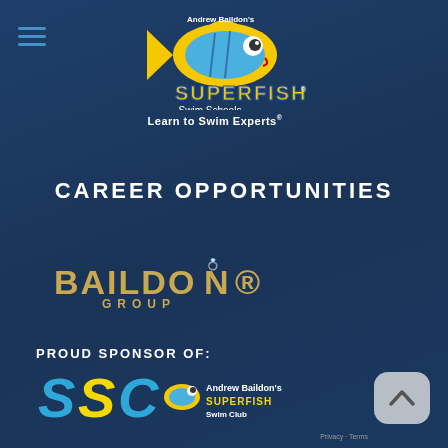[Figure (logo): Andrew Baildon's Superfish Swim Schools logo with cartoon fish, blue text SUPERFISH, Swim Schools below, and Learn to Swim Experts tagline]
CAREER OPPORTUNITIES
[Figure (logo): Baildon Group logo with gold/yellow text on dark blue background]
PROUD SPONSOR OF:
[Figure (logo): Andrew Baildon's Superfish Swim Club logo with SSC letters and fish mascot]